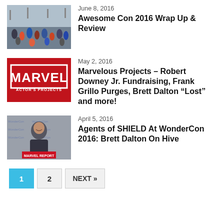[Figure (photo): Crowd at convention center, aerial view]
June 8, 2016
Awesome Con 2016 Wrap Up & Review
[Figure (logo): Marvel Actor's Projects red logo on red background]
May 2, 2016
Marvelous Projects – Robert Downey Jr. Fundraising, Frank Grillo Purges, Brett Dalton “Lost” and more!
[Figure (photo): Man smiling in front of WonderCon banner backdrop]
April 5, 2016
Agents of SHIELD At WonderCon 2016: Brett Dalton On Hive
1  2  NEXT »